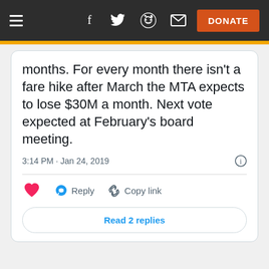Navigation bar with hamburger menu, social icons (Facebook, Twitter, Reddit, Email), and DONATE button
months. For every month there isn't a fare hike after March the MTA expects to lose $30M a month. Next vote expected at February's board meeting.
3:14 PM · Jan 24, 2019
Reply   Copy link
Read 2 replies
[Figure (screenshot): Advertisement banner with apartment building photo and Apartments.com green panel with Search Now button]